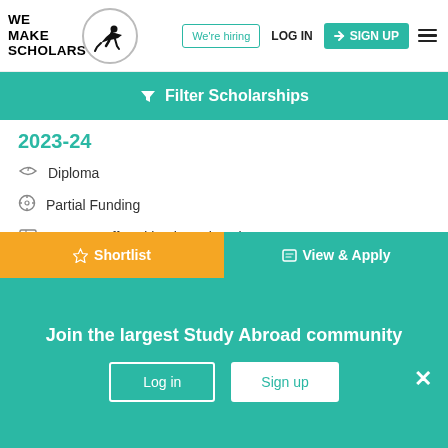[Figure (logo): WE MAKE SCHOLARS logo with silhouette figure in circle]
We're hiring | LOG IN | SIGN UP
Filter Scholarships
2023-24
Diploma
Partial Funding
Courses offered by the university
Open to all nationals
Northern Arizona University (NAU)
☆ Shortlist
View & Apply
Join the largest Study Abroad community
Log in
Sign up